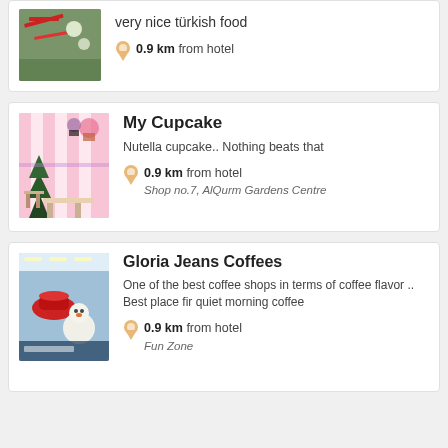[Figure (photo): Photo of a Turkish restaurant/food place with decorative items]
very nice türkish food
0.9 km from hotel
My Cupcake
Nutella cupcake.. Nothing beats that
0.9 km from hotel
Shop no.7, AlQurm Gardens Centre
[Figure (photo): Photo of My Cupcake shop interior with striped walls and Christmas tree]
Gloria Jeans Coffees
One of the best coffee shops in terms of coffee flavor .. Best place fir quiet morning coffee
0.9 km from hotel
Fun Zone
[Figure (photo): Photo of Gloria Jeans Coffees interior with red hat decoration]